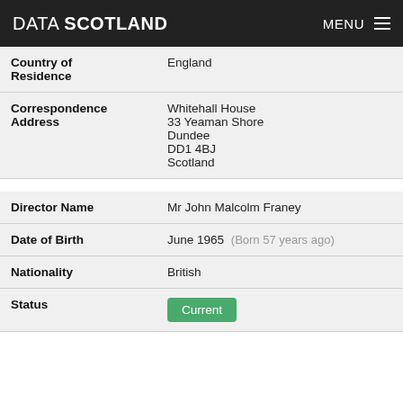DATA SCOTLAND | MENU
| Field | Value |
| --- | --- |
| Country of Residence | England |
| Correspondence Address | Whitehall House
33 Yeaman Shore
Dundee
DD1 4BJ
Scotland |
| Field | Value |
| --- | --- |
| Director Name | Mr John Malcolm Franey |
| Date of Birth | June 1965  (Born 57 years ago) |
| Nationality | British |
| Status | Current |